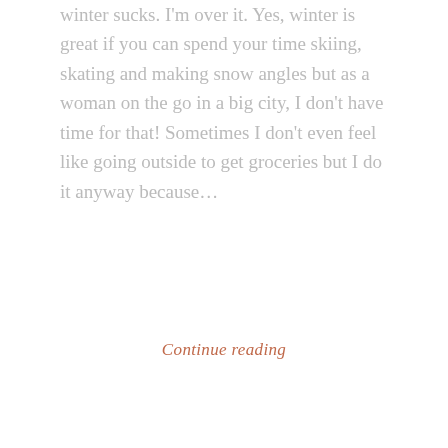winter sucks. I'm over it. Yes, winter is great if you can spend your time skiing, skating and making snow angles but as a woman on the go in a big city, I don't have time for that! Sometimes I don't even feel like going outside to get groceries but I do it anyway because...
Continue reading
[Figure (illustration): Decorative divider with three button-like circles and dashed lines on either side]
CHICKEN
Star Anise Chicken with Mars Bar Mole
January 18, 2016 · EatThisAndShutUp · Leave a comment